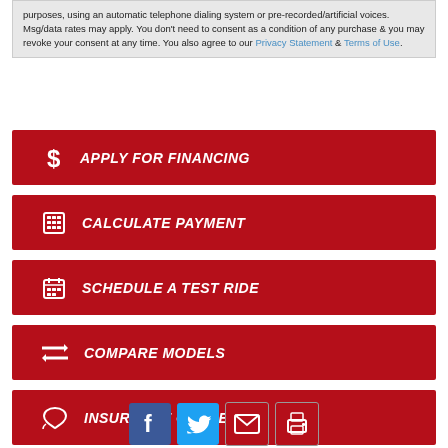purposes, using an automatic telephone dialing system or pre-recorded/artificial voices. Msg/data rates may apply. You don't need to consent as a condition of any purchase & you may revoke your consent at any time. You also agree to our Privacy Statement & Terms of Use.
APPLY FOR FINANCING
CALCULATE PAYMENT
SCHEDULE A TEST RIDE
COMPARE MODELS
INSURANCE QUOTE